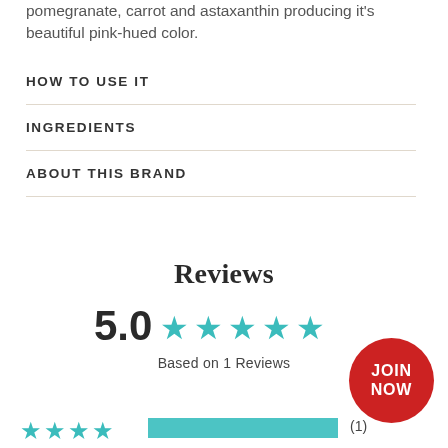pomegranate, carrot and astaxanthin producing it's beautiful pink-hued color.
HOW TO USE IT
INGREDIENTS
ABOUT THIS BRAND
Reviews
5.0 ★★★★★
Based on 1 Reviews
JOIN NOW
★★★★ (1)